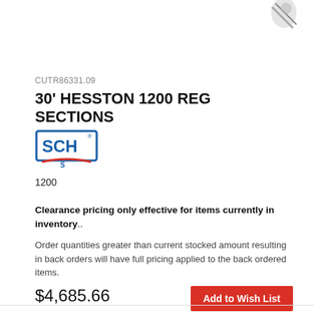[Figure (photo): Partial product image at top right, showing a blade or cutting tool component against white background]
CUTR86331.09
30' HESSTON 1200 REG SECTIONS
[Figure (logo): SCH brand logo in blue with red swoosh accent]
1200
Clearance pricing only effective for items currently in inventory..
Order quantities greater than current stocked amount resulting in back orders will have full pricing applied to the back ordered items.
$4,685.66